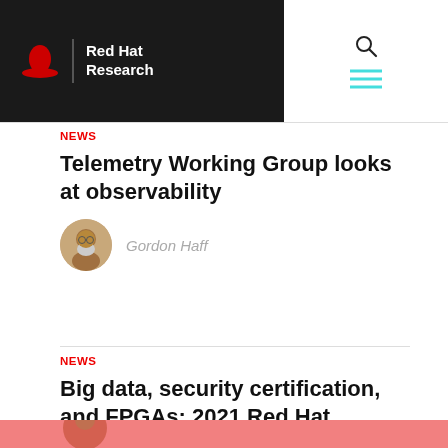[Figure (logo): Red Hat Research logo — red fedora hat icon with 'Red Hat Research' text on black background header bar, with search and hamburger menu icons on the right]
NEWS
Telemetry Working Group looks at observability
Gordon Haff
NEWS
Big data, security certification, and FPGAs: 2021 Red Hat Research Days have begun